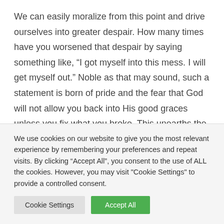We can easily moralize from this point and drive ourselves into greater despair. How many times have you worsened that despair by saying something like, “I got myself into this mess. I will get myself out.” Noble as that may sound, such a statement is born of pride and the fear that God will not allow you back into His good graces unless you fix what you broke. This unearths the reality that you believed He loved you in the first place
We use cookies on our website to give you the most relevant experience by remembering your preferences and repeat visits. By clicking “Accept All”, you consent to the use of ALL the cookies. However, you may visit "Cookie Settings" to provide a controlled consent.